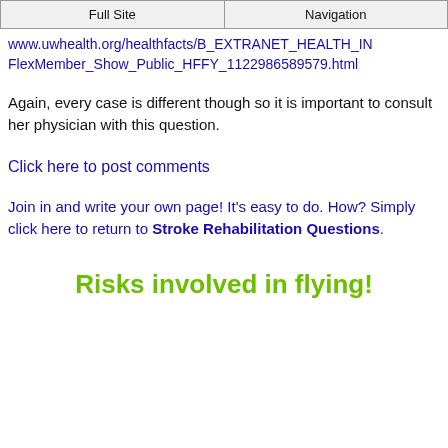Full Site | Navigation
www.uwhealth.org/healthfacts/B_EXTRANET_HEALTH_IN FlexMember_Show_Public_HFFY_1122986589579.html
Again, every case is different though so it is important to consult her physician with this question.
Click here to post comments
Join in and write your own page! It's easy to do. How? Simply click here to return to Stroke Rehabilitation Questions.
Risks involved in flying!